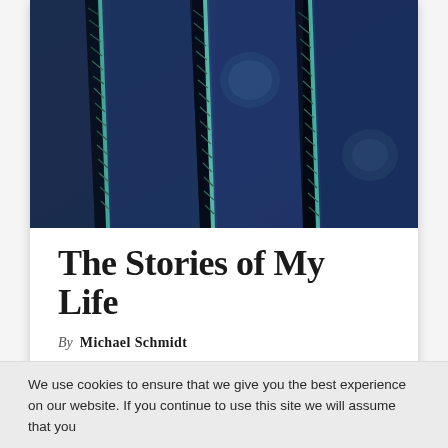[Figure (photo): Close-up photograph of blue-tinted cactus spines and ribbed cactus surface with teal/green highlights, used as book cover image for 'The Stories of My Life']
The Stories of My Life
By Michael Schmidt
£9.95
We use cookies to ensure that we give you the best experience on our website. If you continue to use this site we will assume that you